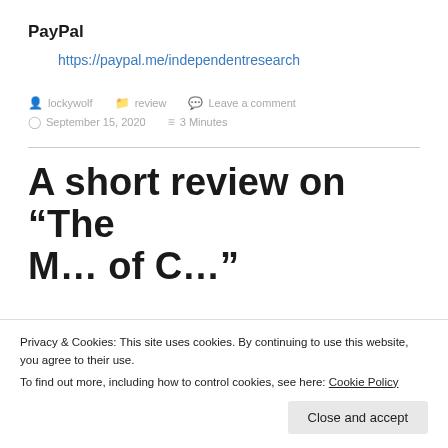PayPal
https://paypal.me/independentresearch
lockywolf   review   Leave a comment
September 15, 2020   3 Minutes
A short review on “The M… of C…”
Privacy & Cookies: This site uses cookies. By continuing to use this website, you agree to their use.
To find out more, including how to control cookies, see here: Cookie Policy
Close and accept